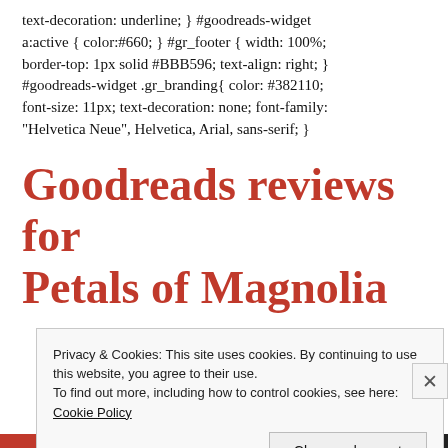text-decoration: underline; } #goodreads-widget a:active { color:#660; } #gr_footer { width: 100%; border-top: 1px solid #BBB596; text-align: right; } #goodreads-widget .gr_branding{ color: #382110; font-size: 11px; text-decoration: none; font-family: "Helvetica Neue", Helvetica, Arial, sans-serif; }
Goodreads reviews for Petals of Magnolia
Privacy & Cookies: This site uses cookies. By continuing to use this website, you agree to their use. To find out more, including how to control cookies, see here: Cookie Policy
Close and accept